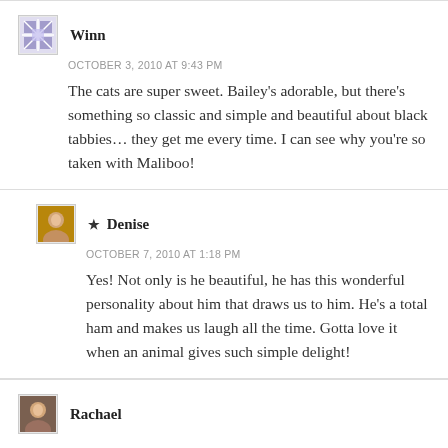Winn
OCTOBER 3, 2010 AT 9:43 PM
The cats are super sweet. Bailey's adorable, but there's something so classic and simple and beautiful about black tabbies… they get me every time. I can see why you're so taken with Maliboo!
★ Denise
OCTOBER 7, 2010 AT 1:18 PM
Yes! Not only is he beautiful, he has this wonderful personality about him that draws us to him. He's a total ham and makes us laugh all the time. Gotta love it when an animal gives such simple delight!
Rachael